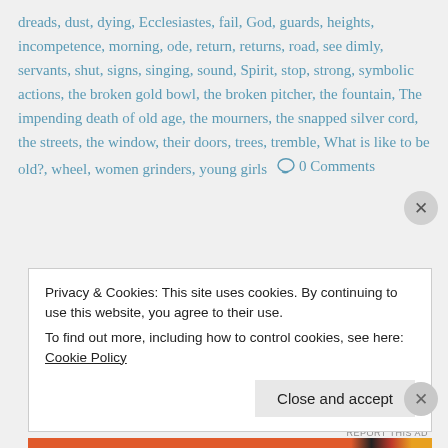dreads, dust, dying, Ecclesiastes, fail, God, guards, heights, incompetence, morning, ode, return, returns, road, see dimly, servants, shut, signs, singing, sound, Spirit, stop, strong, symbolic actions, the broken gold bowl, the broken pitcher, the fountain, The impending death of old age, the mourners, the snapped silver cord, the streets, the window, their doors, trees, tremble, What is like to be old?, wheel, women grinders, young girls   ◯ 0 Comments
Privacy & Cookies: This site uses cookies. By continuing to use this website, you agree to their use.
To find out more, including how to control cookies, see here: Cookie Policy
Close and accept